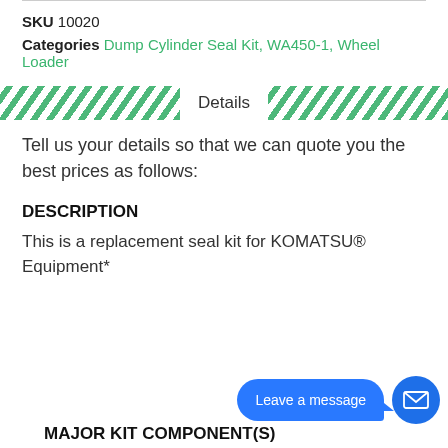SKU 10020
Categories Dump Cylinder Seal Kit, WA450-1, Wheel Loader
Details
Tell us your details so that we can quote you the best prices as follows:
DESCRIPTION
This is a replacement seal kit for KOMATSU® Equipment*
MAJOR KIT COMPONENT(S)